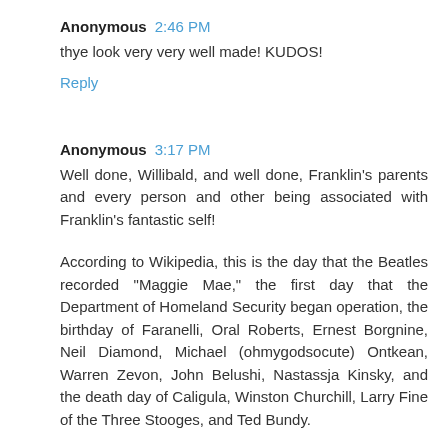Anonymous 2:46 PM
thye look very very well made! KUDOS!
Reply
Anonymous 3:17 PM
Well done, Willibald, and well done, Franklin's parents and every person and other being associated with Franklin's fantastic self!
According to Wikipedia, this is the day that the Beatles recorded "Maggie Mae," the first day that the Department of Homeland Security began operation, the birthday of Faranelli, Oral Roberts, Ernest Borgnine, Neil Diamond, Michael (ohmygodsocute) Ontkean, Warren Zevon, John Belushi, Nastassja Kinsky, and the death day of Caligula, Winston Churchill, Larry Fine of the Three Stooges, and Ted Bundy.
Franklin, you  saved  this day.